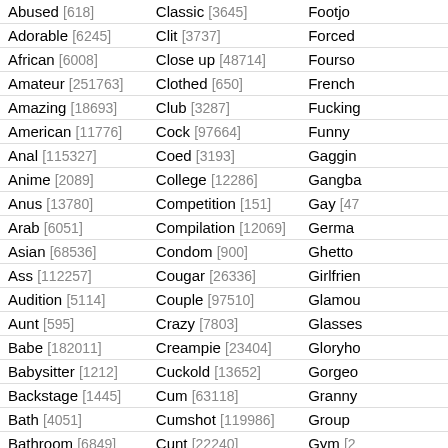| Category | Category | Category |
| --- | --- | --- |
| Abused [618] | Classic [3645] | Footjob [...] |
| Adorable [6245] | Clit [3737] | Forced [...] |
| African [6008] | Close up [48714] | Fourso[...] |
| Amateur [251763] | Clothed [650] | French [...] |
| Amazing [18693] | Club [3287] | Fucking [...] |
| American [11776] | Cock [97664] | Funny [...] |
| Anal [115327] | Coed [3193] | Gaggin[...] |
| Anime [2089] | College [12286] | Gangba[...] |
| Anus [13780] | Competition [151] | Gay [47...] |
| Arab [6051] | Compilation [12069] | Germa[...] |
| Asian [68536] | Condom [900] | Ghetto [...] |
| Ass [112257] | Cougar [26336] | Girlfrien[...] |
| Audition [5114] | Couple [97510] | Glamou[...] |
| Aunt [595] | Crazy [7803] | Glasses[...] |
| Babe [182011] | Creampie [23404] | Gloryho[...] |
| Babysitter [1212] | Cuckold [13652] | Gorge[...] |
| Backstage [1445] | Cum [63118] | Granny [...] |
| Bath [4051] | Cumshot [119986] | Group [...] |
| Bathroom [6849] | Cunt [22240] | Gym [2...] |